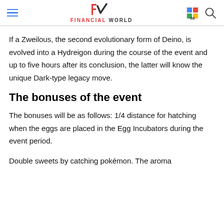FINANCIAL WORLD
If a Zweilous, the second evolutionary form of Deino, is evolved into a Hydreigon during the course of the event and up to five hours after its conclusion, the latter will know the unique Dark-type legacy move.
The bonuses of the event
The bonuses will be as follows: 1/4 distance for hatching when the eggs are placed in the Egg Incubators during the event period.
Double sweets by catching pokémon. The aroma